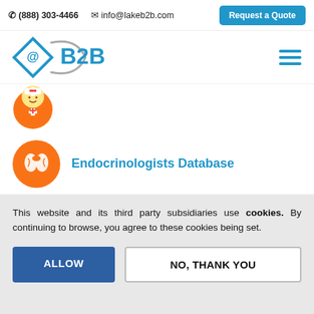📞 (888) 303-4466   ✉ info@lakeb2b.com   Request a Quote
[Figure (logo): LakeB2B logo with diamond @ symbol and B2B text]
[Figure (illustration): Nurse cartoon character icon]
Endocrinologists Database
This website and its third party subsidiaries use cookies. By continuing to browse, you agree to these cookies being set.
ALLOW
NO, THANK YOU